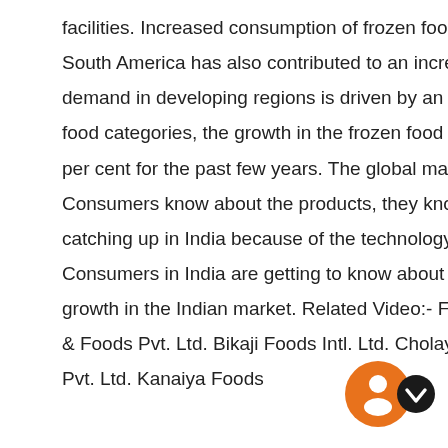facilities. Increased consumption of frozen food products in the emerging markets of Asia Pacific and South America has also contributed to an increase in the sale of frozen bakery products. The demand in developing regions is driven by an increase in disposable income. As compared to other food categories, the growth in the frozen food sector is significant as the industry is growing by 15-24 per cent for the past few years. The global market is a bit mature when it comes to frozen foods. Consumers know about the products, they know its goodness. The frozen food trend is slowly catching up in India because of the technology, social media and the western influence and news. Consumers in India are getting to know about the goodness of the frozen foods and, hence, there is growth in the Indian market. Related Video:- Food Processing Key players:- A D F Foods Ltd. Spices & Foods Pvt. Ltd. Bikaji Foods Intl. Ltd. Cholayil Pure & Foods Pvt. Ltd. Haldiram Manufacturing Co. Pvt. Ltd. Kanaiya Foods
[Figure (other): Orange chat widget circle with person/chat icon, and a dark circular arrow button partially overlapping it at bottom right of page.]